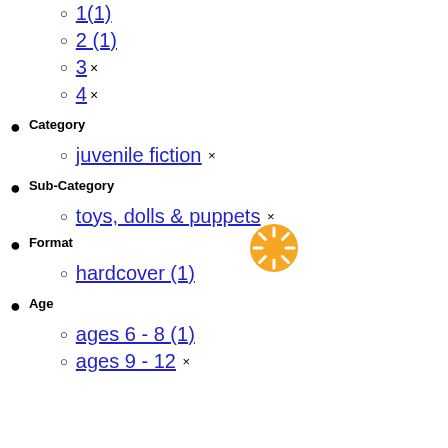1(1)
2 (1)
3 ×
4 ×
Category
juvenile fiction ×
Sub-Category
toys, dolls & puppets ×
Format
hardcover (1)
Age
ages 6 - 8 (1)
ages 9 - 12 ×